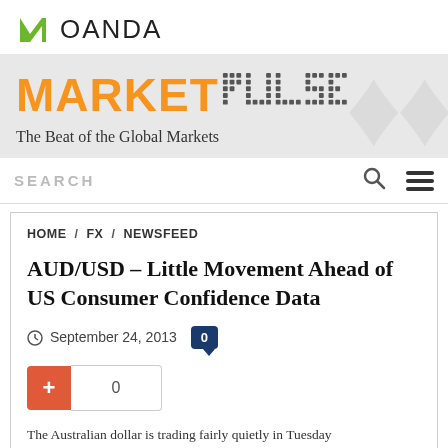[Figure (logo): OANDA logo with green N icon and OANDA text]
[Figure (illustration): MarketPulse banner with orange MARKET text and dotted PULSE text on grey background with subtitle 'The Beat of the Global Markets']
SEARCH
HOME / FX / NEWSFEED
AUD/USD – Little Movement Ahead of US Consumer Confidence Data
September 24, 2013  0
0
The Australian dollar is trading fairly quietly in Tuesday